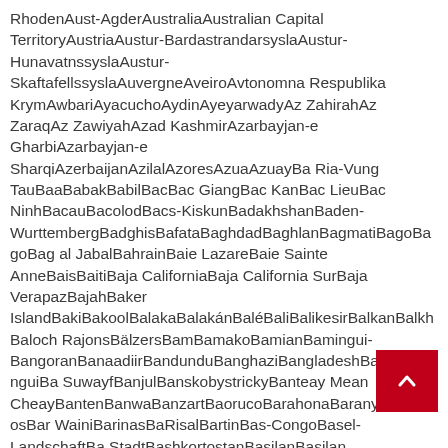RhodenAust-AgderAustraliaAustralian Capital TerritoryAustriaAustur-BardastrandarsyslaAustur-HunavatnssyslaAustur-SkaftafellssyslaAuvergneAveiroAvtonomna Respublika KrymAwbariAyacuchoAydinAyeyarwadyAz ZahirahAz ZaraqAz ZawiyahAzad KashmirAzarbayjan-e GharbiAzarbayjan-e SharqiAzerbaijanAzilalAzoresAzuaAzuayBa Ria-Vung TauBaaBabakBabilBacBac GiangBac KanBac LieuBac NinhBacauBacolodBacs-KiskunBadakhshanBaden-WurttembergBadghisBafataBaghdadBaghlanBagmatiBagoBagoBag al JabalBahrainBaie LazareBaie Sainte AnneBaisBaitiBaja CaliforniaBaja California SurBaja VerapazBajahBaker IslandBakiBakoolBalakaBalakánBaléBaliBalikesirBalkanBalkhBaloch RajonsBälzersBamBamakoBamianBamingui-BangoranBanaadiirBandunduBanghaziBangladeshBangoloBanguiBa SuwayfBanjulBanskobystrickyBanteay Mean CheayBantenBanwaBanzartBaorucoBarahonaBaranyaBarbadosBar WainiBarinasBaRisalBartinBas-CongoBasel-LandschaftBa StadtBashkortostanBasilanBasilan CityBasilicataBassas IndiaBasse-KottoBasse-NormandieBataanBatanesBatangasBatangas CityBatdambangBathaBatkanBatmanBatnaBatus